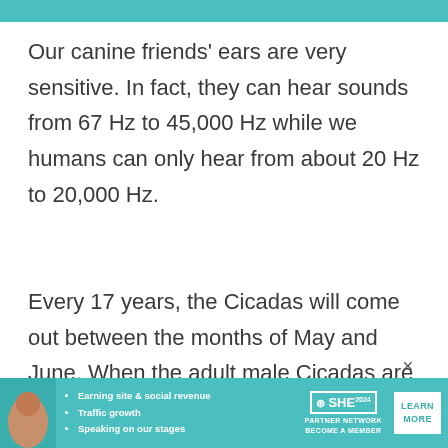[Figure (other): Teal/turquoise banner strip at the top of the page]
Our canine friends' ears are very sensitive. In fact, they can hear sounds from 67 Hz to 45,000 Hz while we humans can only hear from about 20 Hz to 20,000 Hz.
Every 17 years, the Cicadas will come out between the months of May and June. When the adult male Cicadas are ready
[Figure (other): SHE Partner Network advertisement banner at the bottom with a woman's photo, bullet points about earning site & social revenue, traffic growth, speaking on stages, SHE logo, and a Learn More button]